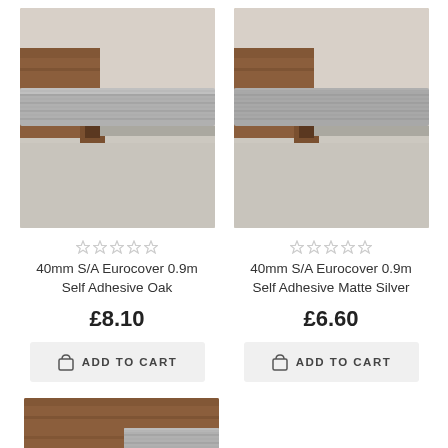[Figure (photo): Product photo of 40mm S/A Eurocover 0.9m Self Adhesive Oak floor trim strip, showing silver metal strip over wood and carpet]
[Figure (photo): Product photo of 40mm S/A Eurocover 0.9m Self Adhesive Matte Silver floor trim strip, showing silver metal strip over wood and carpet]
★★★★★ (empty stars rating)
40mm S/A Eurocover 0.9m Self Adhesive Oak
£8.10
ADD TO CART
★★★★★ (empty stars rating)
40mm S/A Eurocover 0.9m Self Adhesive Matte Silver
£6.60
ADD TO CART
[Figure (photo): Partial product photo of a third floor trim product, showing wood and silver metal strip, cropped at bottom of page]